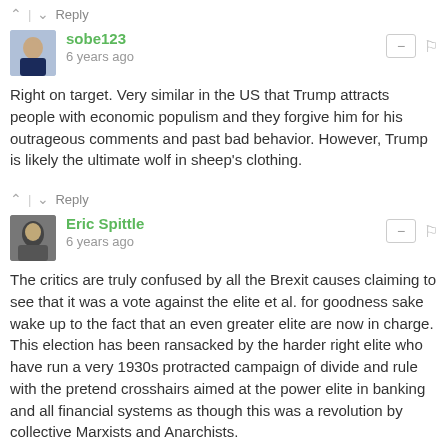^ | v  Reply
sobe123
6 years ago
Right on target. Very similar in the US that Trump attracts people with economic populism and they forgive him for his outrageous comments and past bad behavior. However, Trump is likely the ultimate wolf in sheep's clothing.
^ | v  Reply
Eric Spittle
6 years ago
The critics are truly confused by all the Brexit causes claiming to see that it was a vote against the elite et al. for goodness sake wake up to the fact that an even greater elite are now in charge. This election has been ransacked by the harder right elite who have run a very 1930s protracted campaign of divide and rule with the pretend crosshairs aimed at the power elite in banking and all financial systems as though this was a revolution by collective Marxists and Anarchists.
Nothing could be further from the truth, this sleight of hand has conned millions into believing they are punishing the